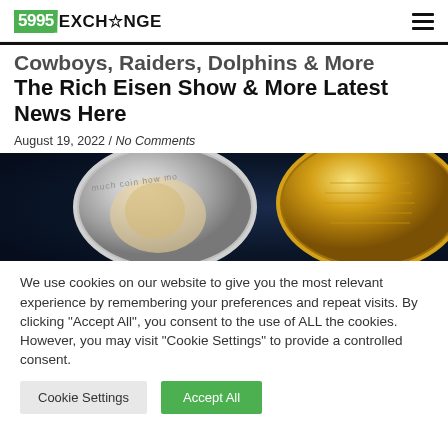5995EXCHANGE
Cowboys, Raiders, Dolphins & More The Rich Eisen Show & More Latest News Here
August 19, 2022 / No Comments
[Figure (photo): Two cryptocurrency coins (Dogecoin and a gold coin) against a dark blue background. Text visible: 'much coin how mo' on the silver coin.]
We use cookies on our website to give you the most relevant experience by remembering your preferences and repeat visits. By clicking "Accept All", you consent to the use of ALL the cookies. However, you may visit "Cookie Settings" to provide a controlled consent.